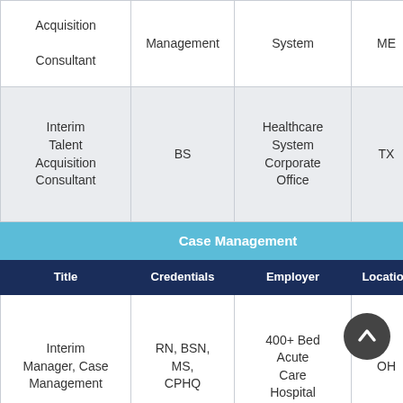| Title | Credentials | Employer | Location | Dire... |
| --- | --- | --- | --- | --- |
| Acquisition Consultant | Management | System | ME | I |
| Interim Talent Acquisition Consultant | BS | Healthcare System Corporate Office | TX | I |
| Case Management |  |  |  |  |
| Title | Credentials | Employer | Location | Dire... |
| Interim Manager, Case Management | RN, BSN, MS, CPHQ | 400+ Bed Acute Care Hospital | OH | I |